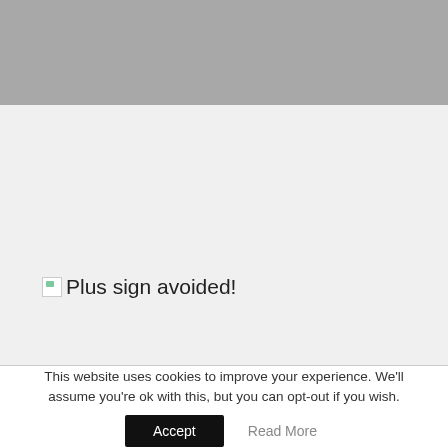[Figure (other): Gray banner area at top of page]
[Figure (other): Broken image icon followed by text 'Plus sign avoided!' on a light gray background]
This website uses cookies to improve your experience. We'll assume you're ok with this, but you can opt-out if you wish.
Accept
Read More